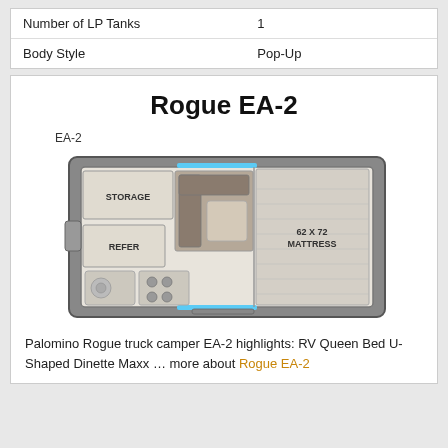|  |  |
| --- | --- |
| Number of LP Tanks | 1 |
| Body Style | Pop-Up |
Rogue EA-2
EA-2
[Figure (engineering-diagram): Top-down floor plan of the Rogue EA-2 truck camper showing storage area, refer, U-shaped dinette, and 62 x 72 mattress area.]
Palomino Rogue truck camper EA-2 highlights: RV Queen Bed U-Shaped Dinette Maxx … more about Rogue EA-2